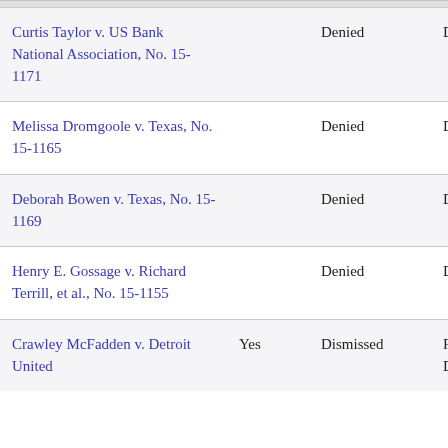| Case | IFP Granted | Cert Disposition | Lower Court Disposition | Circuit |
| --- | --- | --- | --- | --- |
| Curtis Taylor v. US Bank National Association, No. 15-1171 |  | Denied | Denied | Ore |
| Melissa Dromgoole v. Texas, No. 15-1165 |  | Denied | Denied | Tex |
| Deborah Bowen v. Texas, No. 15-1169 |  | Denied | Denied | Tex |
| Henry E. Gossage v. Richard Terrill, et al., No. 15-1155 |  | Denied | Denied | Nin Cir |
| Crawley McFadden v. Detroit United | Yes | Dismissed | Rehearing Disposed | Sixt |